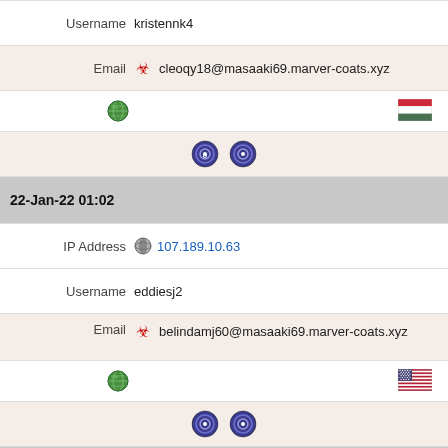| Username | kristennk4 |
| Email | ☣ cleoqy18@masaaki69.marver-coats.xyz |
| [globe] [Hungary flag] |  |
| [tor icons] |  |
| 22-Jan-22 01:02 |  |
| IP Address | 107.189.10.63 |
| Username | eddiesj2 |
| Email | ☣ belindamj60@masaaki69.marver-coats.xyz |
| [globe] [US flag] |  |
| [tor icons] |  |
| 19-Jan-22 14:38 |  |
| IP Address | 185.220.101.80 |
| Username | christaaj11 |
| Email | ☣ rickio69@masaaki69.marver-coats.xyz |